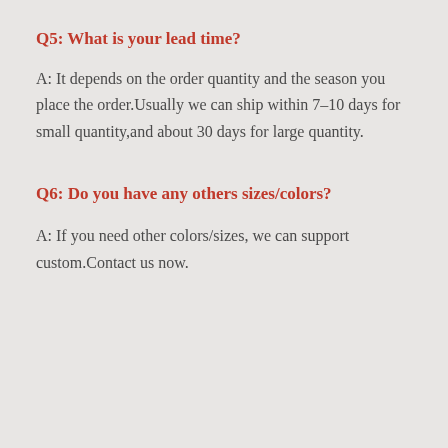Q5: What is your lead time?
A: It depends on the order quantity and the season you place the order.Usually we can ship within 7-10 days for small quantity,and about 30 days for large quantity.
Q6: Do you have any others sizes/colors?
A: If you need other colors/sizes, we can support custom.Contact us now.